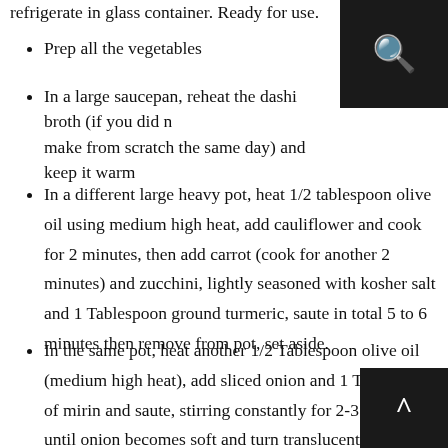refrigerate in glass container. Ready for use.
Prep all the vegetables
In a large saucepan, reheat the dashi broth (if you did not make from scratch the same day) and keep it warm
In a different large heavy pot, heat 1/2 tablespoon olive oil using medium high heat, add cauliflower and cook for 2 minutes, then add carrot (cook for another 2 minutes) and zucchini, lightly seasoned with kosher salt and 1 Tablespoon ground turmeric, saute in total 5 to 6 minutes then remove from pot, set aside.
In the same pot, heat another 1/2 Tablespoon olive oil (medium high heat), add sliced onion and 1 Tablespoon of mirin and saute, stirring constantly for 2-3 minutes, until onion becomes soft and turn translucent (I let it caramelize a little).  Add the remaining 2 Tablespoons ground turmeric and cook, stirring constantly and mix well, be careful not burn the turmeric!